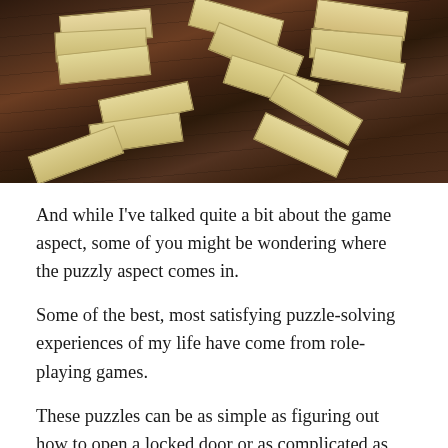[Figure (photo): Photograph of scattered wooden Jenga-like blocks on a dark brown wooden table surface]
And while I've talked quite a bit about the game aspect, some of you might be wondering where the puzzly aspect comes in.
Some of the best, most satisfying puzzle-solving experiences of my life have come from role-playing games.
These puzzles can be as simple as figuring out how to open a locked door or as complicated as unraveling a villain's dastardly plot for world domination. It can be a poem to be parsed and understood or a trap to be escaped.